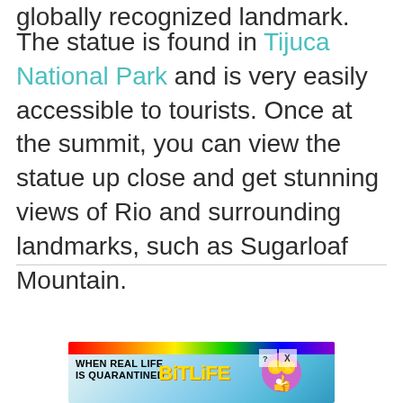globally recognized landmark.
The statue is found in Tijuca National Park and is very easily accessible to tourists. Once at the summit, you can view the statue up close and get stunning views of Rio and surrounding landmarks, such as Sugarloaf Mountain.
ADVERTISEMENT
[Figure (illustration): Advertisement banner for BitLife app showing rainbow strip, text 'WHEN REAL LIFE IS QUARANTINED', BitLife logo in yellow, emoji character, and close/help buttons]